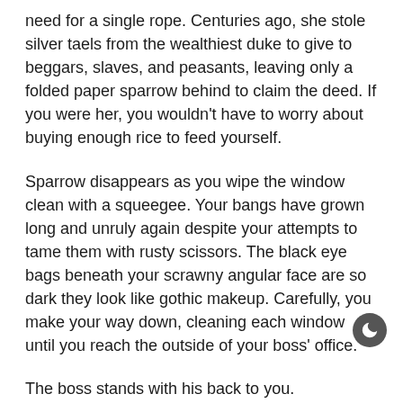need for a single rope. Centuries ago, she stole silver taels from the wealthiest duke to give to beggars, slaves, and peasants, leaving only a folded paper sparrow behind to claim the deed. If you were her, you wouldn't have to worry about buying enough rice to feed yourself.
Sparrow disappears as you wipe the window clean with a squeegee. Your bangs have grown long and unruly again despite your attempts to tame them with rusty scissors. The black eye bags beneath your scrawny angular face are so dark they look like gothic makeup. Carefully, you make your way down, cleaning each window until you reach the outside of your boss' office.
The boss stands with his back to you.